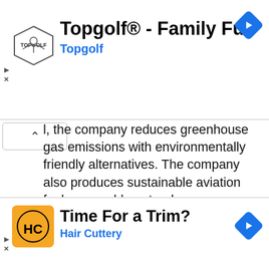[Figure (screenshot): Topgolf advertisement banner with logo, title 'Topgolf® - Family Fun', subtitle 'Topgolf', and blue diamond navigation arrow]
l, the company reduces greenhouse gas emissions with environmentally friendly alternatives. The company also produces sustainable aviation fuel, renewable natural gas, isobutane, ethanol, and animal feed and protein.

Axens North America, Inc. and Gevo, Inc. have a strategic alliance for developing sustainable aviation fuel and ethanol-to-jet technology. In March 2006, the company changed its name t
[Figure (screenshot): Hair Cuttery advertisement banner with logo, title 'Time For a Trim?', subtitle 'Hair Cuttery', and blue diamond navigation arrow]